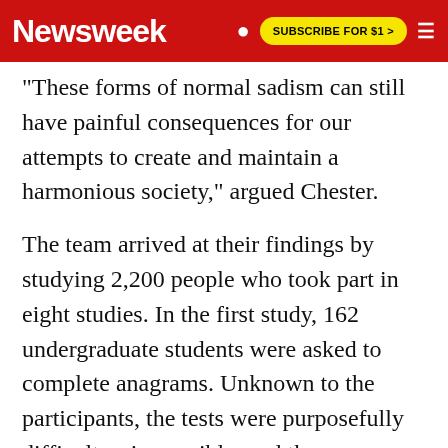Newsweek | SUBSCRIBE FOR $1 >
These forms of normal sadism can still have painful consequences for our attempts to create and maintain a harmonious society," argued Chester.
The team arrived at their findings by studying 2,200 people who took part in eight studies. In the first study, 162 undergraduate students were asked to complete anagrams. Unknown to the participants, the tests were purposefully difficult or impossible, and the researchers continually interrupted them and chided their performance before letting the students continue.